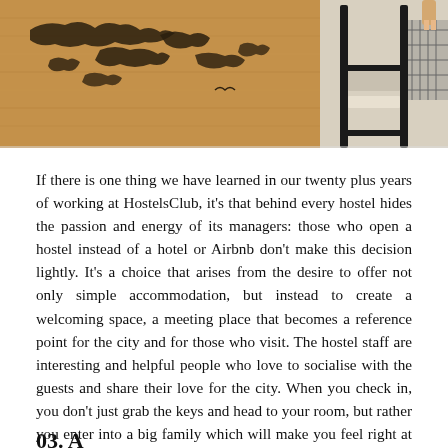[Figure (photo): Top portion of a hostel interior photo showing a wooden wall with a world map silhouette and bunk bed frames]
If there is one thing we have learned in our twenty plus years of working at HostelsClub, it's that behind every hostel hides the passion and energy of its managers: those who open a hostel instead of a hotel or Airbnb don't make this decision lightly. It's a choice that arises from the desire to offer not only simple accommodation, but instead to create a welcoming space, a meeting place that becomes a reference point for the city and for those who visit. The hostel staff are interesting and helpful people who love to socialise with the guests and share their love for the city. When you check in, you don't just grab the keys and head to your room, but rather you enter into a big family which will make you feel right at home!
03. A ...